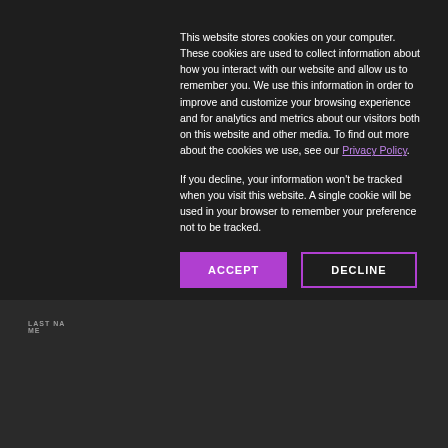February 28, 2022
Tweet  Share
This website stores cookies on your computer. These cookies are used to collect information about how you interact with our website and allow us to remember you. We use this information in order to improve and customize your browsing experience and for analytics and metrics about our visitors both on this website and other media. To find out more about the cookies we use, see our Privacy Policy.
If you decline, your information won't be tracked when you visit this website. A single cookie will be used in your browser to remember your preference not to be tracked.
ACCEPT
DECLINE